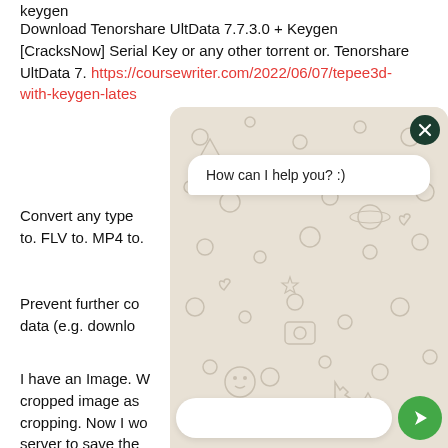keygen
Download Tenorshare UltData 7.7.3.0 + Keygen [CracksNow] Serial Key or any other torrent or. Tenorshare UltData 7. https://coursewriter.com/2022/06/07/tepee3d-with-keygen-lates
Convert any type. FLV to. MP4 to.
Prevent further co data (e.g. downlo
I have an Image. W cropped image as cropping. Now I wo server to save the After saving, I want to show an alert to the user so that if
[Figure (screenshot): A chat widget overlay with a beige/tan patterned background featuring doodle icons, a dark close button (X) in top-right corner, a white speech bubble saying 'How can I help you? :)', a white input box at the bottom with a green send button with arrow icon.]